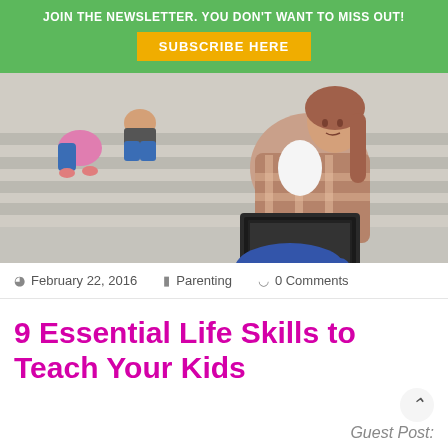JOIN THE NEWSLETTER. YOU DON'T WANT TO MISS OUT!
SUBSCRIBE HERE
[Figure (photo): A teenage girl sitting cross-legged on steps outside, working on a laptop. Other students are visible in the background.]
February 22, 2016    Parenting    0 Comments
9 Essential Life Skills to Teach Your Kids
Guest Post: